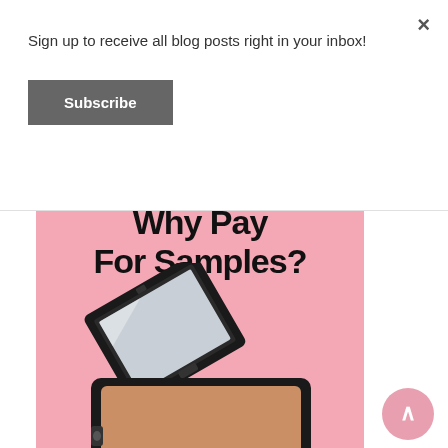Sign up to receive all blog posts right in your inbox!
Subscribe
[Figure (illustration): A blog post promotional image on a pink background with the text 'Why Pay For Samples?' and an open black compact powder makeup product with a mirror inside the lid.]
×